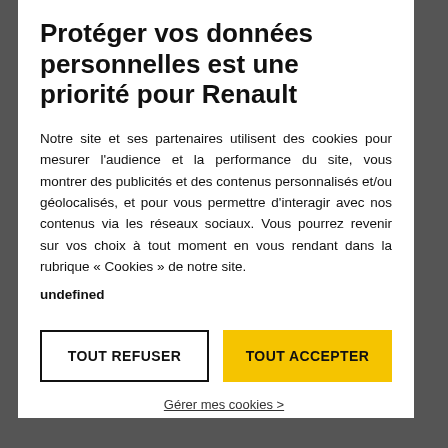Protéger vos données personnelles est une priorité pour Renault
Notre site et ses partenaires utilisent des cookies pour mesurer l'audience et la performance du site, vous montrer des publicités et des contenus personnalisés et/ou géolocalisés, et pour vous permettre d'interagir avec nos contenus via les réseaux sociaux. Vous pourrez revenir sur vos choix à tout moment en vous rendant dans la rubrique « Cookies » de notre site.
undefined
TOUT REFUSER
TOUT ACCEPTER
Gérer mes cookies >